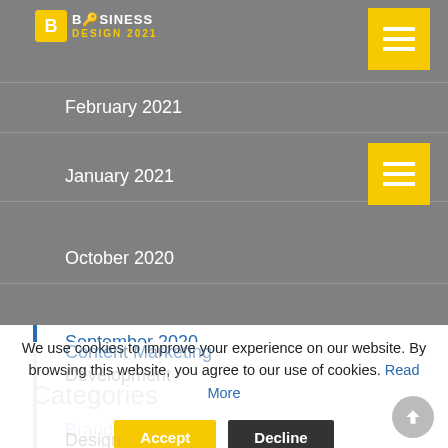Business Design 2021 (logo)
February 2021
January 2021
October 2020
September 2020
Categories
Branding
Content Marketing
Design
Development
We use cookies to improve your experience on our website. By browsing this website, you agree to our use of cookies. Read More
Accept | Decline